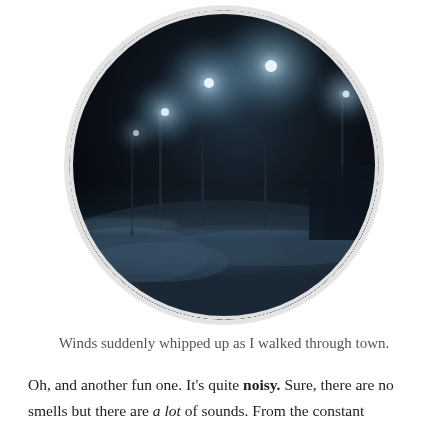[Figure (photo): Circular cropped night-time photograph of a snowy street or open area with street lamps glowing through fog or blowing snow, creating an eerie, atmospheric scene. Multiple lamp posts visible with halos of light in the dark, wintry landscape.]
Winds suddenly whipped up as I walked through town.
Oh, and another fun one. It's quite noisy. Sure, there are no smells but there are a lot of sounds. From the constant